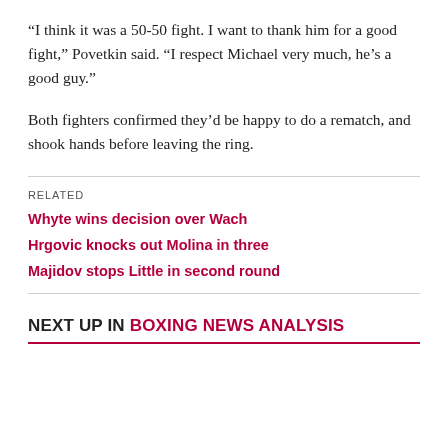“I think it was a 50-50 fight. I want to thank him for a good fight,” Povetkin said. “I respect Michael very much, he’s a good guy.”
Both fighters confirmed they’d be happy to do a rematch, and shook hands before leaving the ring.
RELATED
Whyte wins decision over Wach
Hrgovic knocks out Molina in three
Majidov stops Little in second round
NEXT UP IN BOXING NEWS ANALYSIS